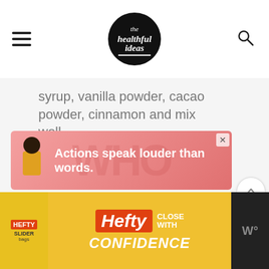The Healthful Ideas
syrup, vanilla powder, cacao powder, cinnamon and mix well.
3 Taste and add more sweetener or cacao as desired.
4 Serve topped with berries, nut butter, or other toppings of choice.
[Figure (advertisement): Colorful ad banner with person figure and text 'Actions speak louder than words.']
[Figure (advertisement): Hefty Slider bags ad: 'Hefty Close With Confidence']